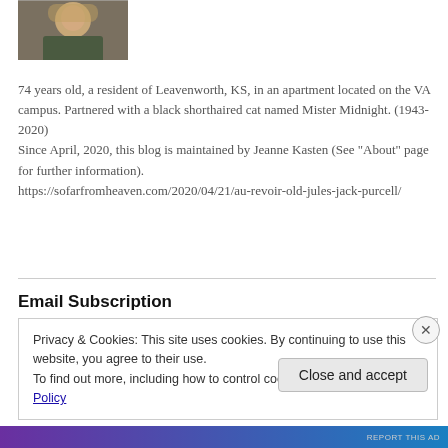[Figure (photo): Portrait photo of a person with light hair, outdoors, cropped thumbnail]
74 years old, a resident of Leavenworth, KS, in an apartment located on the VA campus. Partnered with a black shorthaired cat named Mister Midnight. (1943-2020)
Since April, 2020, this blog is maintained by Jeanne Kasten (See "About" page for further information).
https://sofarfromheaven.com/2020/04/21/au-revoir-old-jules-jack-purcell/
Email Subscription
Privacy & Cookies: This site uses cookies. By continuing to use this website, you agree to their use.
To find out more, including how to control cookies, see here: Cookie Policy
Close and accept